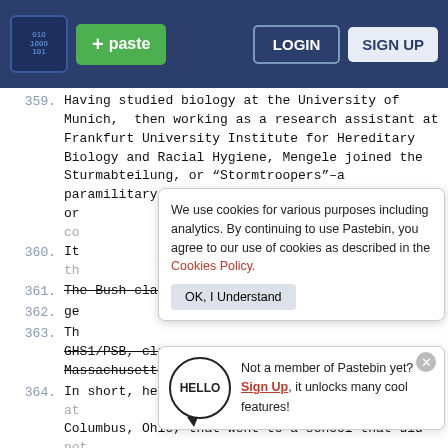Pastebin navigation bar with logo, paste button, login and sign up buttons
359. Having studied biology at the University of Munich, then working as a research assistant at Frankfurt University Institute for Hereditary Biology and Racial Hygiene, Mengele joined the Sturmabteilung, or “Stormtroopers”–a paramilitary or co
360. It th
361. The Bush clan
362. ge
363. Th GHS1/PSB, claim that he was born in Milton, Massachusetts, on June 12, 1924.
364. In short, he was the son of a man born in 1895 at Columbus, Ohio, that went to a school that did not exist; then went to a school in Newport, Rhode
We use cookies for various purposes including analytics. By continuing to use Pastebin, you agree to our use of cookies as described in the Cookies Policy. OK, I Understand
Not a member of Pastebin yet? Sign Up, it unlocks many cool features!